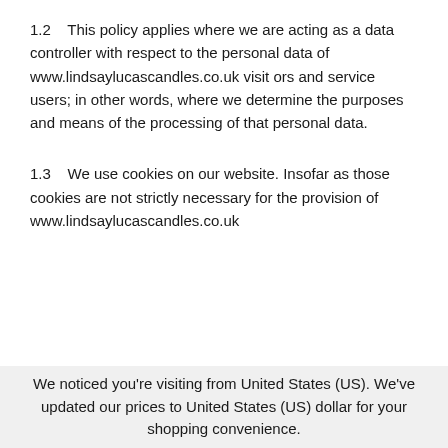1.2   This policy applies where we are acting as a data controller with respect to the personal data of www.lindsaylucascandles.co.uk visitors and service users; in other words, where we determine the purposes and means of the processing of that personal data.
1.3   We use cookies on our website. Insofar as those cookies are not strictly necessary for the provision of www.lindsaylucascandles.co.uk
We noticed you're visiting from United States (US). We've updated our prices to United States (US) dollar for your shopping convenience.